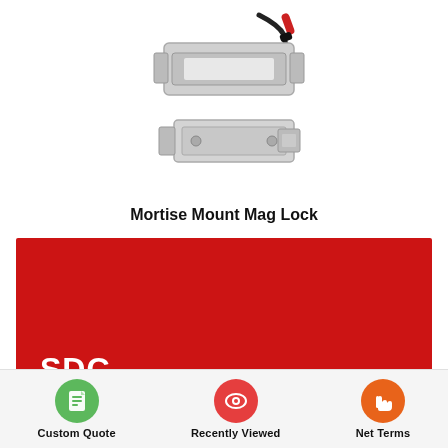[Figure (photo): Product photo of a Mortise Mount Mag Lock – a rectangular metallic electromagnetic lock body with bracket mount and attached cable with connector, shown from two angles (top and bottom).]
Mortise Mount Mag Lock
[Figure (logo): SDC brand logo – white text 'SDC' on a red background banner.]
[Figure (infographic): Bottom navigation bar with three icons: green circle with document icon labeled 'Custom Quote', red circle with eye icon labeled 'Recently Viewed', orange circle with hand/touch icon labeled 'Net Terms'.]